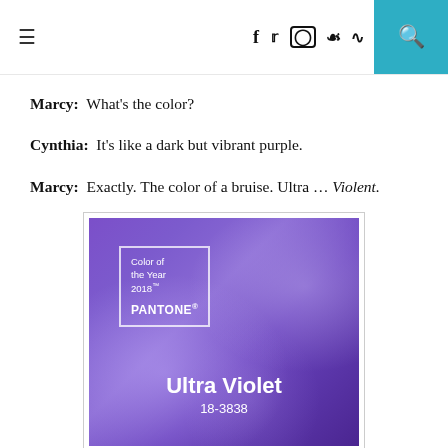≡  f  twitter  instagram  pinterest  rss  [search]
Marcy:  What's the color?
Cynthia:  It's like a dark but vibrant purple.
Marcy:  Exactly. The color of a bruise. Ultra … Violent.
[Figure (photo): Pantone Color of the Year 2018 promotional image showing Ultra Violet 18-3838 against a purple nebula background]
Pantone.com